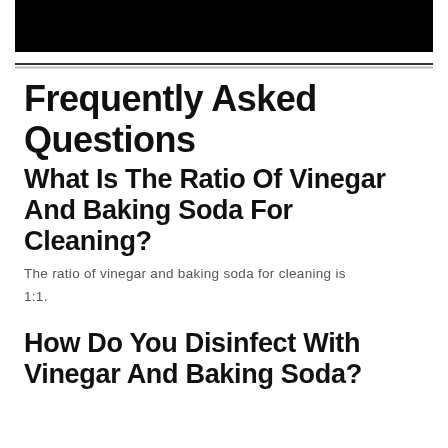[Figure (photo): Black rectangular banner/header bar at top of page]
Frequently Asked Questions
What Is The Ratio Of Vinegar And Baking Soda For Cleaning?
The ratio of vinegar and baking soda for cleaning is 1:1.
How Do You Disinfect With Vinegar And Baking Soda?